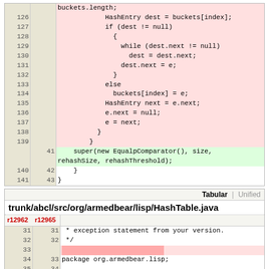[Figure (screenshot): Code diff view showing lines 126-141 of a Java file with red (deleted) background highlighting and a green (added) line 41 with super(new EqualpComparator(), size, rehashSize, rehashThreshold);]
[Figure (screenshot): Tabular diff view header for trunk/abcl/src/org/armedbear/lisp/HashTable.java showing revisions r12962 and r12965 with lines 31-37 including package and import statements, with a deleted blank line at line 33]